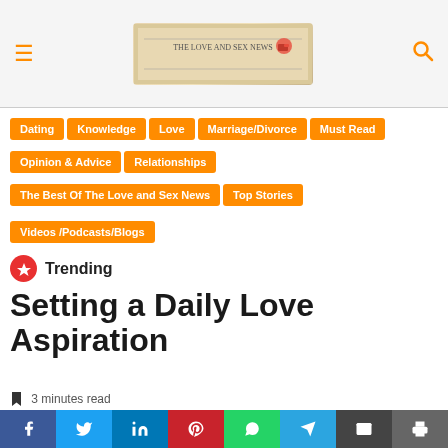The Love and Sex News — site header with hamburger menu and search icon
Dating
Knowledge
Love
Marriage/Divorce
Must Read
Opinion & Advice
Relationships
The Best Of The Love and Sex News
Top Stories
Videos /Podcasts/Blogs
Trending
Setting a Daily Love Aspiration
3 minutes read